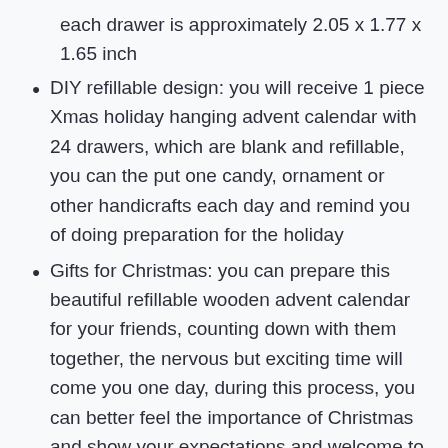each drawer is approximately 2.05 x 1.77 x 1.65 inch
DIY refillable design: you will receive 1 piece Xmas holiday hanging advent calendar with 24 drawers, which are blank and refillable, you can the put one candy, ornament or other handicrafts each day and remind you of doing preparation for the holiday
Gifts for Christmas: you can prepare this beautiful refillable wooden advent calendar for your friends, counting down with them together, the nervous but exciting time will come you one day, during this process, you can better feel the importance of Christmas and show your expectations and welcome to the coming holiday